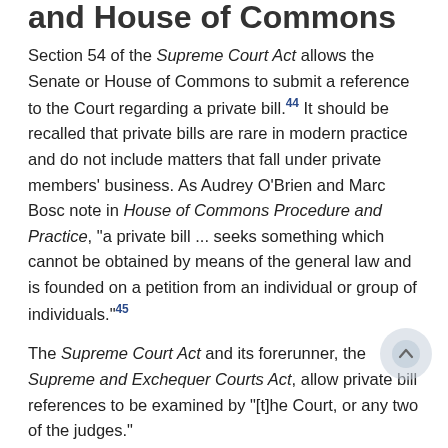and House of Commons
Section 54 of the Supreme Court Act allows the Senate or House of Commons to submit a reference to the Court regarding a private bill.44 It should be recalled that private bills are rare in modern practice and do not include matters that fall under private members' business. As Audrey O'Brien and Marc Bosc note in House of Commons Procedure and Practice, "a private bill ... seeks something which cannot be obtained by means of the general law and is founded on a petition from an individual or group of individuals."45
The Supreme Court Act and its forerunner, the Supreme and Exchequer Courts Act, allow private bill references to be examined by "[t]he Court, or any two of the judges."
5.1 Current Context
The power to send private bill references to the Court is codified in Senate Rule 11-18:
At any time before the adoption of a